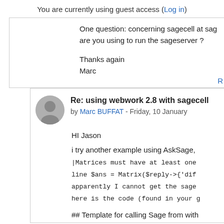You are currently using guest access (Log in)
One question: concerning sagecell at sag... are you using to run the sageserver ?
Thanks again
Marc
Re: using webwork 2.8 with sagecell
by Marc BUFFAT - Friday, 10 January
HI Jason
i try another example using AskSage,
|Matrices must have at least one
line $ans = Matrix($reply->{'dif
apparently I cannot get the sage
here is the code (found in your g
## Template for calling Sage from with